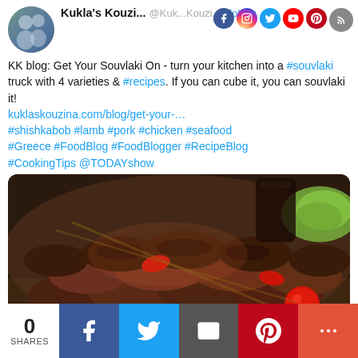Kukla's Kouzi... @Kuk...Kouzi... Follow
KK blog: Get Your Souvlaki On - turn your kitchen into a #souvlaki truck with 4 varieties & #recipes. If you can cube it, you can souvlaki it! kuklaskouzina.com/blog/get-your-... #shishkabob #lamb #pork #chicken #seafood #Greece #FoodBlog #FoodBlogger #RecipeBlog #CookingTips @TODAYshow
[Figure (photo): Close-up photo of grilled souvlaki meat skewers piled on a plate with red tomatoes and green salad in the background, warm restaurant lighting.]
0 SHARES | Facebook | Twitter | Email | Pinterest | More